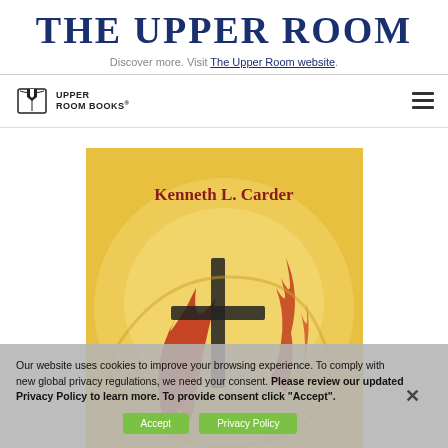THE UPPER ROOM
Discover more. Visit The Upper Room website.
[Figure (logo): Upper Room Books logo with open book icon and text UPPER ROOM BOOKS]
[Figure (photo): Book cover by Kenneth L. Carder showing a cross with flames on a warm yellow/orange background]
Our website uses cookies to improve your browsing experience. To comply with new global privacy regulations, we need your consent. Please review our updated Privacy Policy to learn more. To provide consent click "Accept".